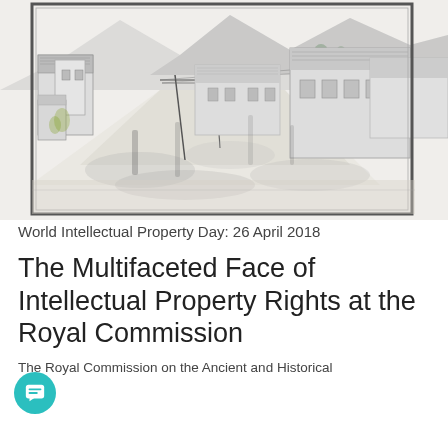[Figure (illustration): A monochrome ink and watercolor sketch of a village street scene viewed through a window frame, showing buildings, a road, utility poles, and mountains in the background. The artwork uses loose, gestural marks in shades of grey and black with a subtle yellow-green accent.]
World Intellectual Property Day: 26 April 2018
The Multifaceted Face of Intellectual Property Rights at the Royal Commission
The Royal Commission on the Ancient and Historical